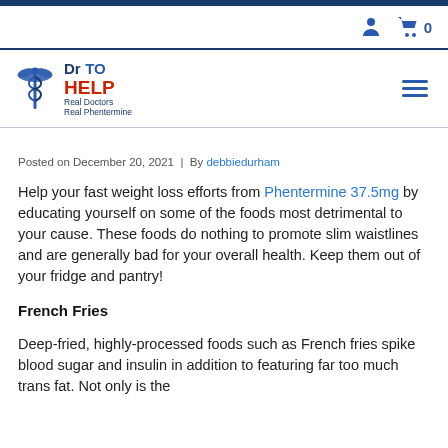Dr TO HELP - Real Doctors Real Phentermine
Posted on December 20, 2021  |  By debbiedurham
Help your fast weight loss efforts from Phentermine 37.5mg by educating yourself on some of the foods most detrimental to your cause. These foods do nothing to promote slim waistlines and are generally bad for your overall health. Keep them out of your fridge and pantry!
French Fries
Deep-fried, highly-processed foods such as French fries spike blood sugar and insulin in addition to featuring far too much trans fat. Not only is the